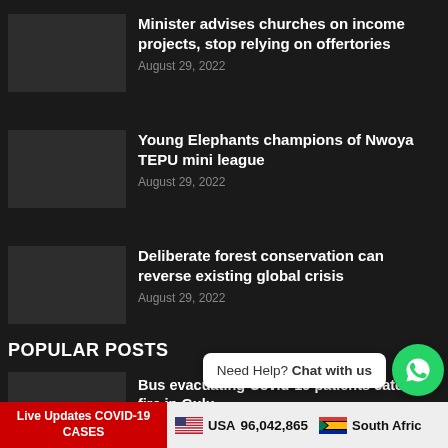Minister advises churches on income projects, stop relying on offertories
August 29, 2022
Young Elephants champions of Nwoya TEPU mini league
August 29, 2022
Deliberate forest conservation can reverse existing global crisis
August 29, 2022
POPULAR POSTS
Bus evacuating Covid-19 patients catches fire in Gulu
Live Updates COVID-19 CASES    USA 96,042,865    South Afric…